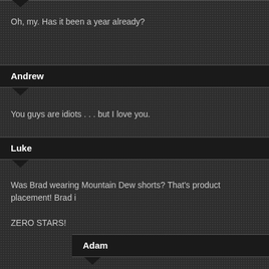Oh, my. Has it been a year already?
Andrew
You guys are idiots . . . but I love you.
Luke
Was Brad wearing Mountain Dew shorts? That's product placement! Brad i
ZERO STARS!
Adam